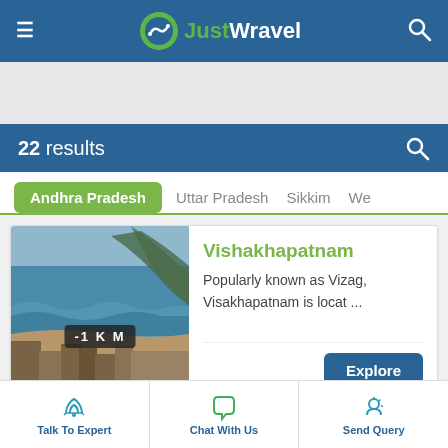JustWravel
22 results
Andhra Pradesh
Uttar Pradesh
Sikkim
We
[Figure (photo): Aerial view of Vishakhapatnam coastline with -1 KM badge]
Vishakhapatnam
Popularly known as Vizag, Visakhapatnam is locat ...
Explore
Talk To Expert  Chat With Us  Send Query